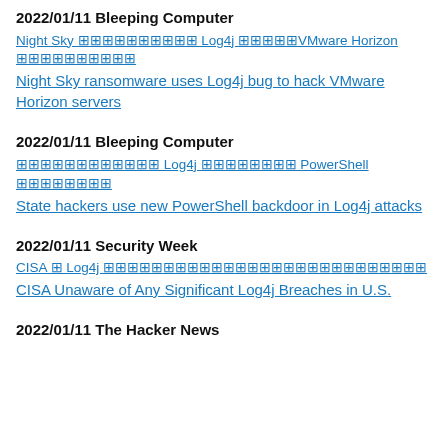2022/01/11 Bleeping Computer
Night Sky 🗙🗙🗙🗙🗙🗙🗙🗙🗙🗙 Log4j 🗙🗙🗙🗙🗙VMware Horizon 🗙🗙🗙🗙🗙🗙🗙🗙🗙🗙
Night Sky ransomware uses Log4j bug to hack VMware Horizon servers
2022/01/11 Bleeping Computer
🗙🗙🗙🗙🗙🗙🗙🗙🗙🗙🗙🗙 Log4j 🗙🗙🗙🗙🗙🗙🗙🗙 PowerShell 🗙🗙🗙🗙🗙🗙🗙🗙
State hackers use new PowerShell backdoor in Log4j attacks
2022/01/11 Security Week
CISA 🗙 Log4j 🗙🗙🗙🗙🗙🗙🗙🗙🗙🗙🗙🗙🗙🗙🗙🗙🗙🗙🗙🗙🗙🗙🗙🗙🗙🗙🗙
CISA Unaware of Any Significant Log4j Breaches in U.S.
2022/01/11 The Hacker News